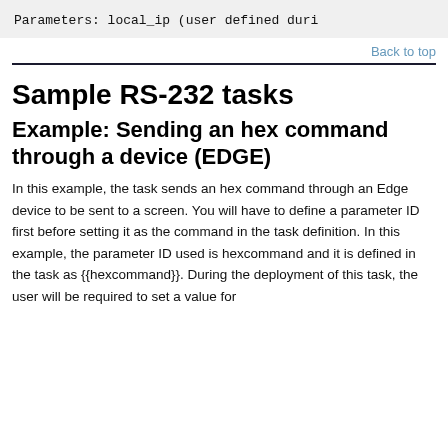Parameters: local_ip (user defined duri
Back to top
Sample RS-232 tasks
Example: Sending an hex command through a device (EDGE)
In this example, the task sends an hex command through an Edge device to be sent to a screen. You will have to define a parameter ID first before setting it as the command in the task definition. In this example, the parameter ID used is hexcommand and it is defined in the task as {{hexcommand}}. During the deployment of this task, the user will be required to set a value for